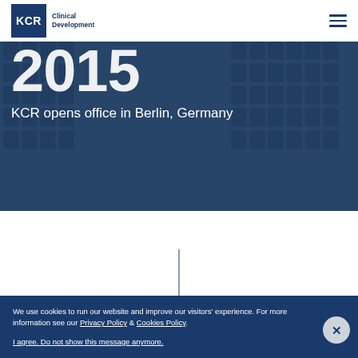KCR Clinical Development
[Figure (photo): Building exterior photo with blue overlay showing year 2015 and text 'KCR opens office in Berlin, Germany']
2015
KCR opens office in Berlin, Germany
We use cookies to run our website and improve our visitors' experience. For more information see our Privacy Policy & Cookies Policy. I agree. Do not show this message anymore.